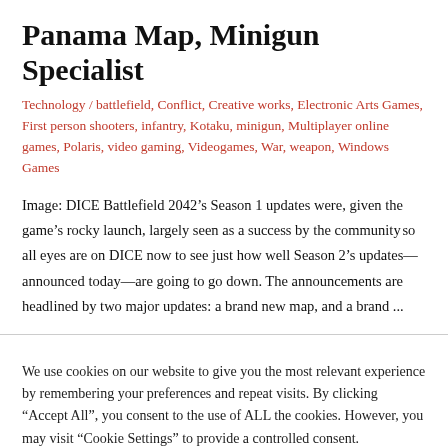Panama Map, Minigun Specialist
Technology / battlefield, Conflict, Creative works, Electronic Arts Games, First person shooters, infantry, Kotaku, minigun, Multiplayer online games, Polaris, video gaming, Videogames, War, weapon, Windows Games
Image: DICE Battlefield 2042’s Season 1 updates were, given the game’s rocky launch, largely seen as a success by the communityso all eyes are on DICE now to see just how well Season 2’s updates—announced today—are going to go down. The announcements are headlined by two major updates: a brand new map, and a brand ...
We use cookies on our website to give you the most relevant experience by remembering your preferences and repeat visits. By clicking “Accept All”, you consent to the use of ALL the cookies. However, you may visit “Cookie Settings” to provide a controlled consent.